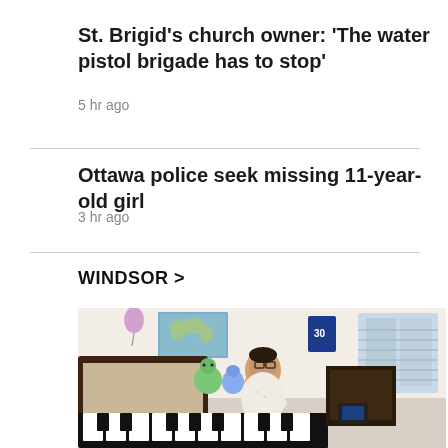St. Brigid's church owner: 'The water pistol brigade has to stop'
5 hr ago
Ottawa police seek missing 11-year-old girl
3 hr ago
WINDSOR >
[Figure (photo): A child wearing glasses sitting at a piano keyboard in a bedroom, with stuffed animals, a world map poster, and a basketball jersey in the background.]